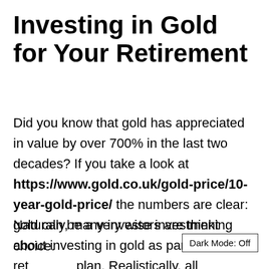Investing in Gold for Your Retirement
Did you know that gold has appreciated in value by over 700% in the last two decades? If you take a look at https://www.gold.co.uk/gold-price/10-year-gold-price/ the numbers are clear: gold can be a very wise investment choice.
Naturally, many investors are thinking about investing in gold as part of their retirement plan. Realistically, all investments carry their…